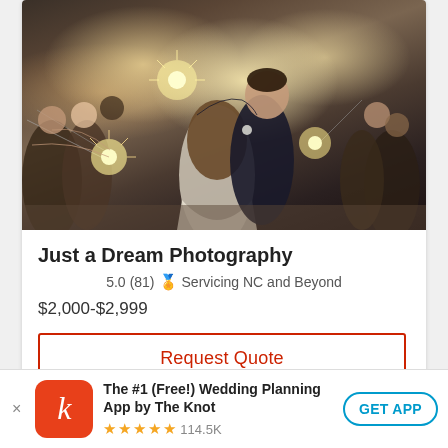[Figure (photo): Wedding photo showing a couple kissing/dipping with guests holding sparklers in the background at a wedding reception]
Just a Dream Photography
5.0 (81) 🏅 Servicing NC and Beyond
$2,000-$2,999
Request Quote
The #1 (Free!) Wedding Planning App by The Knot
★★★★★ 114.5K
GET APP